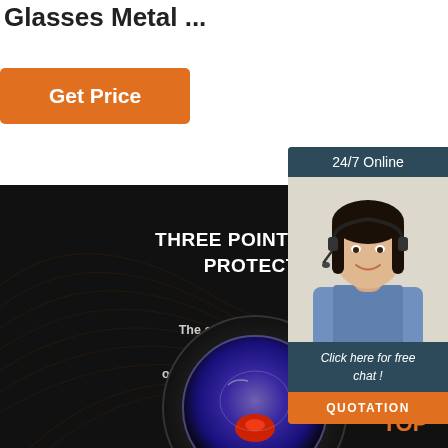Glasses Metal ...
Get Price
[Figure (infographic): Dark background section with decorative swirl lines and product information about Three Point Environmental Protection Fitting glasses]
THREE POINT ENVIRONMENTAL PROTECTION FITTING
The contact point between the glasses and the head is the bridge of the nose and both sides of the head to stabilize the position of the glasses
[Figure (illustration): Customer service agent photo with headset, used in chat widget]
24/7 Online
Click here for free chat !
QUOTATION
[Figure (illustration): TOP button with orange dot pattern above the letters]
[Figure (photo): Circular lens/glasses product photo at bottom of dark section]